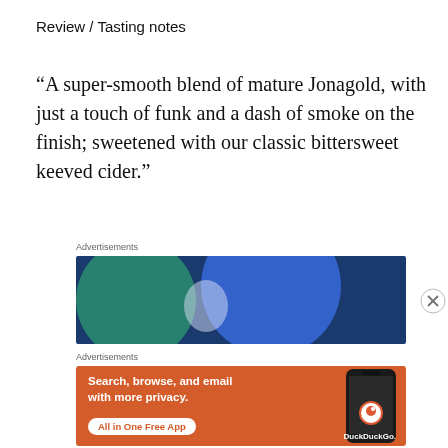Review / Tasting notes
“A super-smooth blend of mature Jonagold, with just a touch of funk and a dash of smoke on the finish; sweetened with our classic bittersweet keeved cider.”
Advertisements
[Figure (illustration): Advertisement banner with teal and blue overlapping circles on dark blue background]
Advertisements
[Figure (illustration): DuckDuckGo advertisement on orange background: Search, browse, and email with more privacy. All in One Free App. Shows DuckDuckGo logo on a smartphone.]